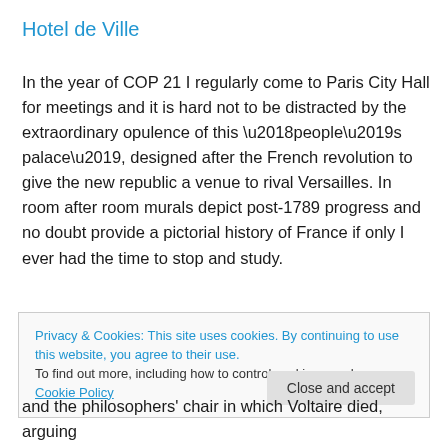Hotel de Ville
In the year of COP 21 I regularly come to Paris City Hall for meetings and it is hard not to be distracted by the extraordinary opulence of this ‘people’s palace’, designed after the French revolution to give the new republic a venue to rival Versailles. In room after room murals depict post-1789 progress and no doubt provide a pictorial history of France if only I ever had the time to stop and study.
Privacy & Cookies: This site uses cookies. By continuing to use this website, you agree to their use.
To find out more, including how to control cookies, see here: Cookie Policy
and the philosophers’ chair in which Voltaire died, arguing